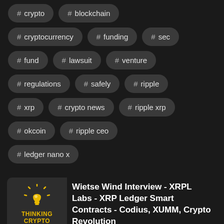# crypto
# blockchain
# cryptocurrency
# funding
# sec
# fund
# lawsuit
# venture
# regulations
# safely
# ripple
# xrp
# crypto news
# ripple xrp
# okcoin
# ripple ceo
# ledger nano x
[Figure (logo): Thinking Crypto logo with lightbulb icon and yellow text]
Wietse Wind Interview - XRPL Labs - XRP Ledger Smart Contracts - Codius, XUMM, Crypto Revolution